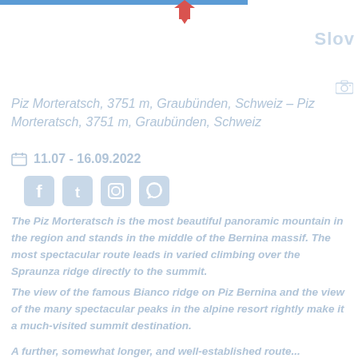[Figure (logo): Blue horizontal bar header with a downward pointing arrow/pin icon in the center, and partial 'Slov' text logo on the right]
Piz Morteratsch, 3751 m, Graubünden, Schweiz – Piz Morteratsch, 3751 m, Graubünden, Schweiz
11.07 - 16.09.2022
[Figure (illustration): Social media icons: Facebook, Twitter, Instagram, WhatsApp]
The Piz Morteratsch is the most beautiful panoramic mountain in the region and stands in the middle of the Bernina massif. The most spectacular route leads in varied climbing over the Spraunza ridge directly to the summit.
The view of the famous Bianco ridge on Piz Bernina and the view of the many spectacular peaks in the alpine resort rightly make it a much-visited summit destination.
A further, somewhat longer, and well-established route...